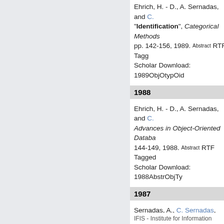Ehrich, H. - D., A. Sernadas, and C. [Sernadas]. "Object-Oriented Identification", Categorical Methods..., pp. 142-156, 1989. Abstract RTF Tagged XML BibTex Google Scholar Download: 1989ObjOtypOid...
1988
Ehrich, H. - D., A. Sernadas, and C. [Sernadas]. Advances in Object-Oriented Databa... 144-149, 1988. Abstract RTF Tagged ... Scholar Download: 1988AbstrObjTy...
1987
Sernadas, A., C. Sernadas, and H. -... Databases: An Algebraic Approac... VLDB'87: VLDB Endowment Press,... Tagged XML BibTex Google Schola...
IFIS - Institute for Information...